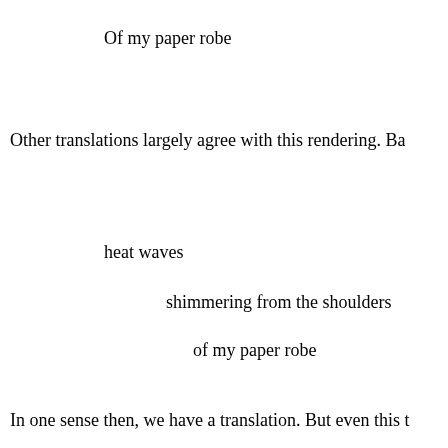Of my paper robe
Other translations largely agree with this rendering. Ba
heat waves
shimmering from the shoulders
of my paper robe
In one sense then, we have a translation. But even this t